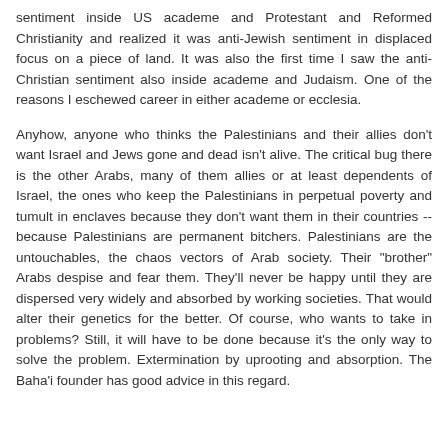sentiment inside US academe and Protestant and Reformed Christianity and realized it was anti-Jewish sentiment in displaced focus on a piece of land. It was also the first time I saw the anti-Christian sentiment also inside academe and Judaism. One of the reasons I eschewed career in either academe or ecclesia.
Anyhow, anyone who thinks the Palestinians and their allies don't want Israel and Jews gone and dead isn't alive. The critical bug there is the other Arabs, many of them allies or at least dependents of Israel, the ones who keep the Palestinians in perpetual poverty and tumult in enclaves because they don't want them in their countries -- because Palestinians are permanent bitchers. Palestinians are the untouchables, the chaos vectors of Arab society. Their "brother" Arabs despise and fear them. They'll never be happy until they are dispersed very widely and absorbed by working societies. That would alter their genetics for the better. Of course, who wants to take in problems? Still, it will have to be done because it's the only way to solve the problem. Extermination by uprooting and absorption. The Baha'i founder has good advice in this regard.